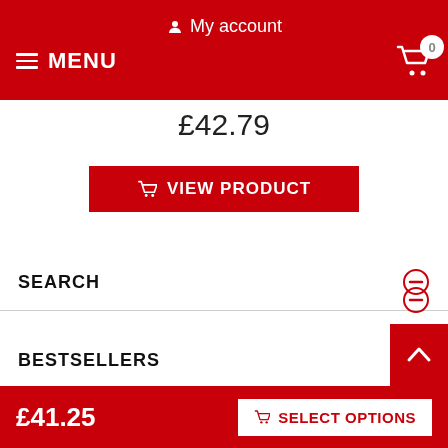My account
MENU
£42.79
VIEW PRODUCT
SEARCH
BESTSELLERS
£41.25
SELECT OPTIONS